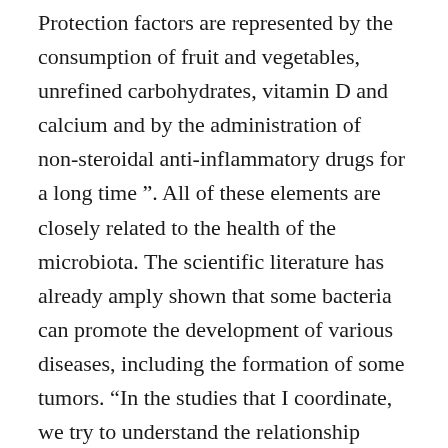Protection factors are represented by the consumption of fruit and vegetables, unrefined carbohydrates, vitamin D and calcium and by the administration of non-steroidal anti-inflammatory drugs for a long time ". All of these elements are closely related to the health of the microbiota. The scientific literature has already amply shown that some bacteria can promote the development of various diseases, including the formation of some tumors. “In the studies that I coordinate, we try to understand the relationship between a given microbiota and the reaction to therapies – continues Rescigno -. In this way we can think of modifying or modulating the microbiota in order to make the treatments more and more effective. For example, in a study that we